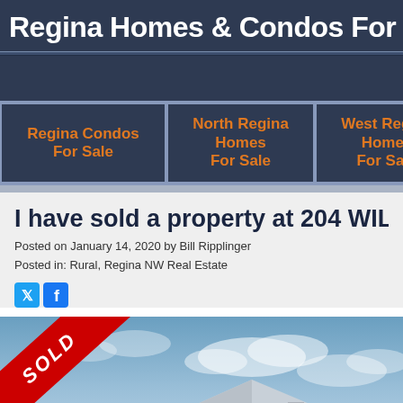Regina Homes & Condos For Sale | Re
Regina Condos For Sale
North Regina Homes For Sale
West Regina Homes For Sale
I have sold a property at 204 WILLOW ST
Posted on January 14, 2020 by Bill Ripplinger
Posted in: Rural, Regina NW Real Estate
[Figure (photo): Property photo with a red SOLD banner overlaid on the bottom-left corner, showing a house rooftop against a blue sky with clouds.]